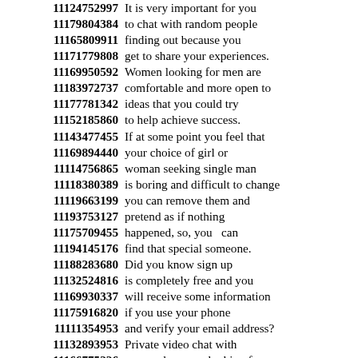11124752997 It is very important for you
11179804384 to chat with random people
11165809911 finding out because you
11171779808 get to share your experiences.
11169950592 Women looking for men are
11183972737 comfortable and more open to
11177781342 ideas that you could try
11152185860 to help achieve success.
11143477455 If at some point you feel that
11169894440 your choice of girl or
11114756865 woman seeking single man
11118380389 is boring and difficult to change
11119663199 you can remove them and
11193753127 pretend as if nothing
11175709455 happened, so, you can
11194145176 find that special someone.
11188283680 Did you know sign up
11132524816 is completely free and you
11169930337 will receive some information
11175916820 if you use your phone
11111354953 and verify your email address?
11132893953 Private video chat with
11166775226 men and women looking for
11136241752 a long-lasting marriage
11167493432 are not shared with others